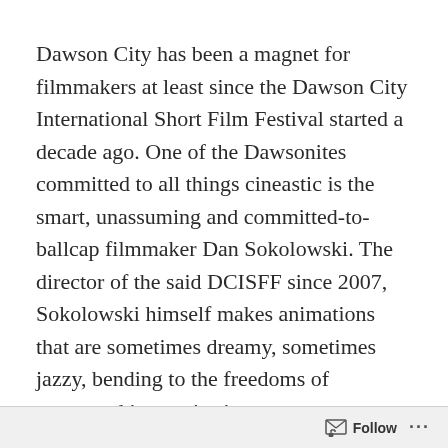Dawson City has been a magnet for filmmakers at least since the Dawson City International Short Film Festival started a decade ago. One of the Dawsonites committed to all things cineastic is the smart, unassuming and committed-to-ballcap filmmaker Dan Sokolowski. The director of the said DCISFF since 2007, Sokolowski himself makes animations that are sometimes dreamy, sometimes jazzy, bending to the freedoms of structured improvisation.
One of Sokolowski’s signature approaches to
Follow ···